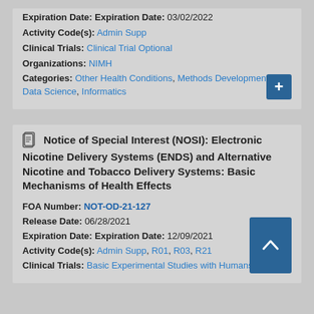Expiration Date: Expiration Date: 03/02/2022
Activity Code(s): Admin Supp
Clinical Trials: Clinical Trial Optional
Organizations: NIMH
Categories: Other Health Conditions, Methods Development, Big Data Science, Informatics
Notice of Special Interest (NOSI): Electronic Nicotine Delivery Systems (ENDS) and Alternative Nicotine and Tobacco Delivery Systems: Basic Mechanisms of Health Effects
FOA Number: NOT-OD-21-127
Release Date: 06/28/2021
Expiration Date: Expiration Date: 12/09/2021
Activity Code(s): Admin Supp, R01, R03, R21
Clinical Trials: Basic Experimental Studies with Humans